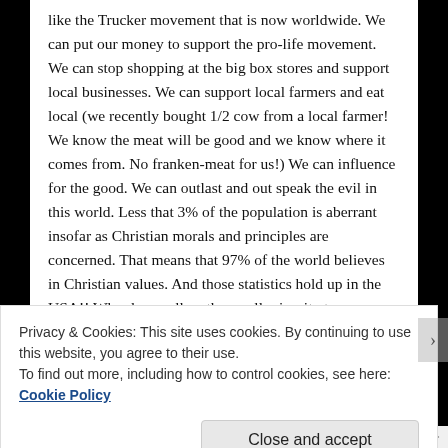like the Trucker movement that is now worldwide. We can put our money to support the pro-life movement. We can stop shopping at the big box stores and support local businesses. We can support local farmers and eat local (we recently bought 1/2 cow from a local farmer! We know the meat will be good and we know where it comes from. No franken-meat for us!) We can influence for the good. We can outlast and out speak the evil in this world. Less that 3% of the population is aberrant insofar as Christian morals and principles are concerned. That means that 97% of the world believes in Christian values. And those statistics hold up in the USA!! Why do we allow the small minority to run our world? Our Country? Our towns and cities?
Privacy & Cookies: This site uses cookies. By continuing to use this website, you agree to their use. To find out more, including how to control cookies, see here: Cookie Policy
Close and accept